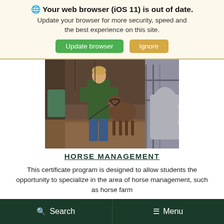Your web browser (iOS 11) is out of date. Update your browser for more security, speed and the best experience on this site.
[Figure (screenshot): Two buttons: 'Update browser' (green) and 'Ignore' (tan/gold)]
[Figure (photo): A person in a green sweatshirt handling a young brown foal inside a stable barn, with a grey horse visible on the right.]
HORSE MANAGEMENT
This certificate program is designed to allow students the opportunity to specialize in the area of horse management, such as horse farm
Search   Menu